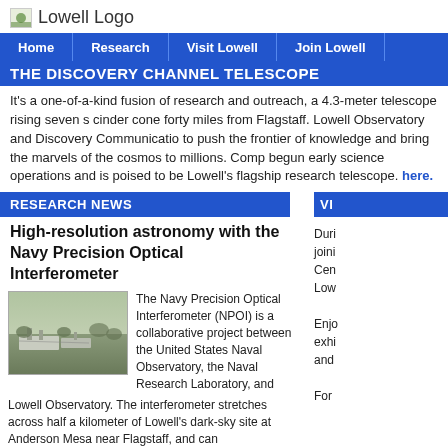[Figure (logo): Lowell Observatory logo with small icon and text 'Lowell Logo']
Home | Research | Visit Lowell | Join Lowell
THE DISCOVERY CHANNEL TELESCOPE
It's a one-of-a-kind fusion of research and outreach, a 4.3-meter telescope rising seven stories above a cinder cone forty miles from Flagstaff. Lowell Observatory and Discovery Communications have joined forces to push the frontier of knowledge and bring the marvels of the cosmos to millions. Completed in 2012, DCT has begun early science operations and is poised to be Lowell's flagship research telescope. Read more about the DCT here.
RESEARCH NEWS
High-resolution astronomy with the Navy Precision Optical Interferometer
[Figure (photo): Aerial photograph of the Navy Precision Optical Interferometer facility at Anderson Mesa near Flagstaff]
The Navy Precision Optical Interferometer (NPOI) is a collaborative project between the United States Naval Observatory, the Naval Research Laboratory, and Lowell Observatory. The interferometer stretches across half a kilometer of Lowell's dark-sky site at Anderson Mesa near Flagstaff, and can
Duri join Cen Low Enjo exhi and For